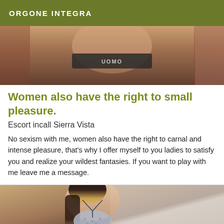ORGONE INTEGRA
[Figure (photo): Cropped photo of a person from neck to waist, wearing a dark top with 'UOMO' text visible]
Women also have the right to small pleasure.
Escort incall Sierra Vista
No sexism with me, women also have the right to carnal and intense pleasure, that's why I offer myself to you ladies to satisfy you and realize your wildest fantasies. If you want to play with me leave me a message.
[Figure (photo): Photo of a young woman with long dark hair wearing a light grey polka dot bikini top, standing against a light wall]